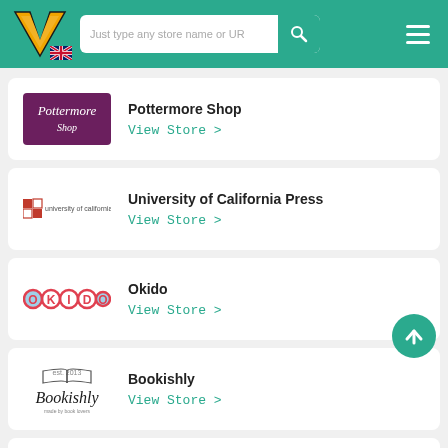[Figure (screenshot): Website header with V logo, search bar, and hamburger menu on teal background]
[Figure (logo): Pottermore Shop logo - white text on purple/magenta background]
Pottermore Shop
View Store >
[Figure (logo): University of California Press logo - small red square grid icon with text]
University of California Press
View Store >
[Figure (logo): Okido logo - colorful circles with letters O K I D O in red outline]
Okido
View Store >
[Figure (logo): Bookishly logo - open book illustration with cursive Bookishly text]
Bookishly
View Store >